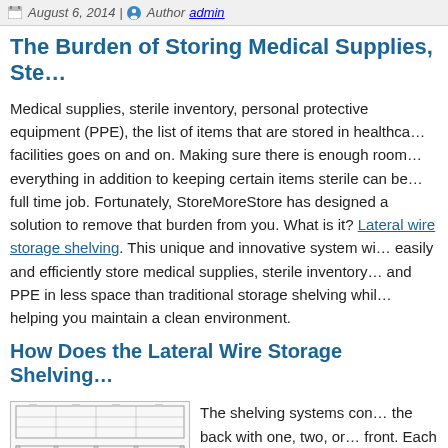August 6, 2014 | Author admin
The Burden of Storing Medical Supplies, Ste…
Medical supplies, sterile inventory, personal protective equipment (PPE), the list of items that are stored in healthcare facilities goes on and on. Making sure there is enough room for everything in addition to keeping certain items sterile can be a full time job. Fortunately, StoreMoreStore has designed a solution to remove that burden from you. What is it? Lateral wire storage shelving. This unique and innovative system will easily and efficiently store medical supplies, sterile inventory, and PPE in less space than traditional storage shelving while helping you maintain a clean environment.
How Does the Lateral Wire Storage Shelving…
[Figure (engineering-diagram): Technical engineering diagram of lateral wire storage shelving system showing top and side views with dimensions.]
The shelving systems con… the back with one, two, or… front. Each type of lateral w…